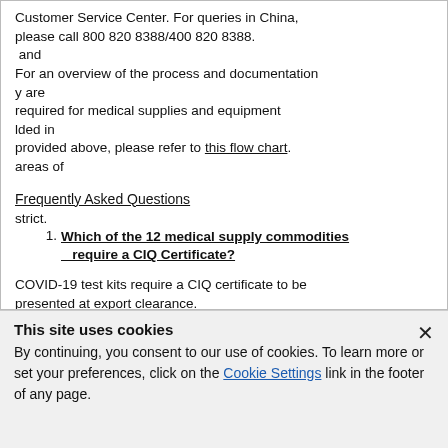Customer Service Center. For queries in China, please call 800 820 8388/400 820 8388. and For an overview of the process and documentation y are required for medical supplies and equipment lded in provided above, please refer to this flow chart. areas of
Frequently Asked Questions
strict.
1. Which of the 12 medical supply commodities require a CIQ Certificate?
COVID-19 test kits require a CIQ certificate to be presented at export clearance.
2. Can UPS provide or sign the Medical Device Product Registration Certificate and Export
This site uses cookies
By continuing, you consent to our use of cookies. To learn more or set your preferences, click on the Cookie Settings link in the footer of any page.